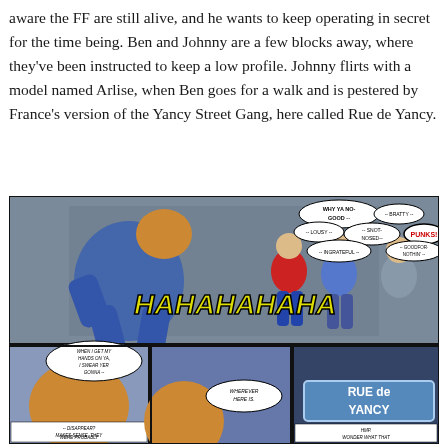aware the FF are still alive, and he wants to keep operating in secret for the time being. Ben and Johnny are a few blocks away, where they've been instructed to keep a low profile. Johnny flirts with a model named Arlise, when Ben goes for a walk and is pestered by France's version of the Yancy Street Gang, here called Rue de Yancy.
[Figure (illustration): Comic book panels showing the Thing (Ben Grimm) being pestered by the French version of the Yancy Street Gang called Rue de Yancy. Top panel: The Thing in a blue coat charging while gang members run away laughing 'HAHAHAHAHA' with speech bubbles saying 'WHY YA NO-GOOD', 'BRATTY', 'LOUSY', 'SNOT-NOSED', 'GOODFOR NOTHIN', 'PUNKS!', 'INGRATEFUL'. Bottom panels: The Thing chasing with speech bubble 'WHEN I GET MY HANDS ON YA, I SWEAR YER GONNA--', another panel with 'WHEREVER HERE IS.', and a street sign reading 'RUE de YANCY' with captions 'DISAPPEAR? MAKES SENSE. THEY WERE PROBABLY' and 'HMP. WONDER WHAT THAT'.]